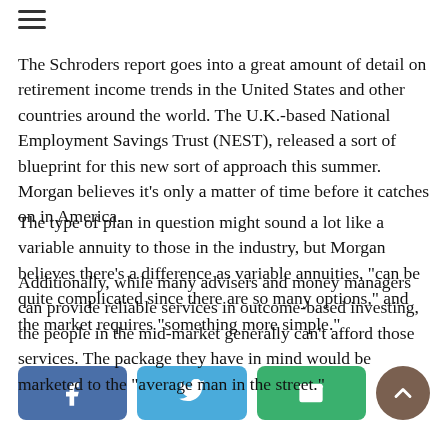[Figure (other): Hamburger menu icon (three horizontal lines)]
The Schroders report goes into a great amount of detail on retirement income trends in the United States and other countries around the world. The U.K.-based National Employment Savings Trust (NEST), released a sort of blueprint for this new sort of approach this summer. Morgan believes it's only a matter of time before it catches on in America.
The type of plan in question might sound a lot like a variable annuity to those in the industry, but Morgan believes there's a difference as variable annuities, "can be quite complicated since there are so many options," and the market requires "something more simple."
Additionally, while many advisers and money managers can provide reliable services in outcome-based investing, the people in the mid-market generally can't afford those services. The package they have in mind would be marketed to the "average man in the street."
[Figure (infographic): Social sharing buttons: Facebook (blue rounded rectangle with f icon), Twitter (light blue rounded rectangle with bird icon), Email (green rounded rectangle with envelope icon), and an up-arrow brown circle button]